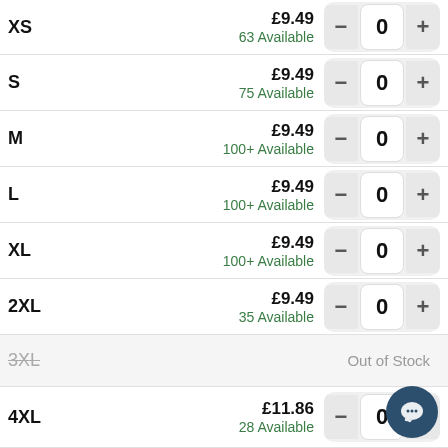| Size | Price / Availability | Qty |
| --- | --- | --- |
| XS | £9.49 / 63 Available | 0 |
| S | £9.49 / 75 Available | 0 |
| M | £9.49 / 100+ Available | 0 |
| L | £9.49 / 100+ Available | 0 |
| XL | £9.49 / 100+ Available | 0 |
| 2XL | £9.49 / 35 Available | 0 |
| 3XL | Out of Stock |  |
| 4XL | £11.86 / 28 Available | 0 |